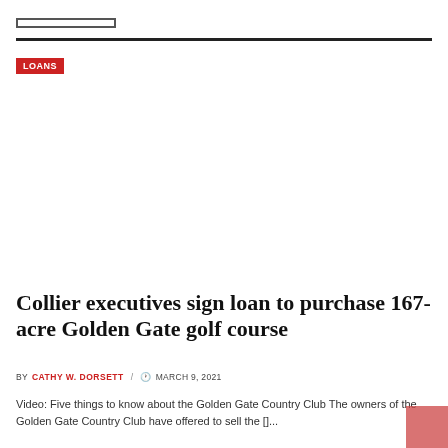LOANS
Collier executives sign loan to purchase 167-acre Golden Gate golf course
BY CATHY W. DORSETT / MARCH 9, 2021
Video: Five things to know about the Golden Gate Country Club The owners of the Golden Gate Country Club have offered to sell the []...